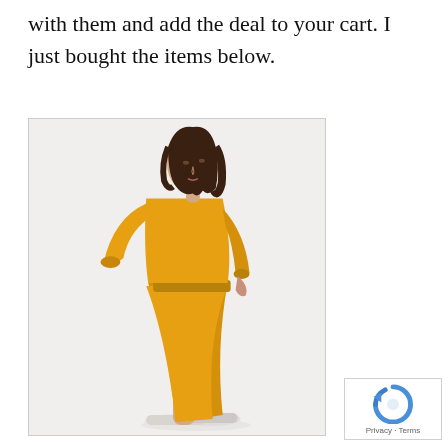with them and add the deal to your cart. I just bought the items below.
[Figure (photo): A female model wearing a mustard yellow long-sleeve knit dress with a belted waist, paired with white sneakers, photographed from the side against a white background.]
[Figure (logo): Google reCAPTCHA badge with spinning arrow icon and 'Privacy · Terms' text]